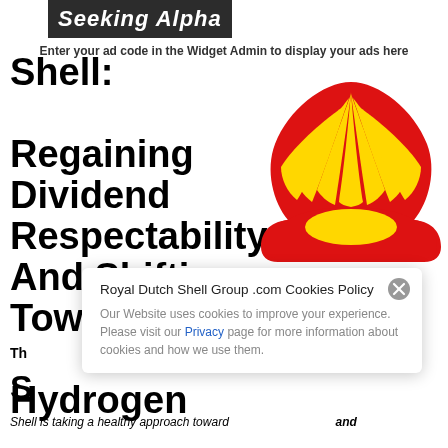Seeking Alpha
Enter your ad code in the Widget Admin to display your ads here
Shell: Regaining Dividend Respectability And Shifting Toward Green Hydrogen
[Figure (logo): Shell company logo — red and yellow scallop shell on red background]
Th
S
Shell is taking a healthy approach toward ... and
[Figure (screenshot): Cookie consent popup: Royal Dutch Shell Group .com Cookies Policy — Our Website uses cookies to improve your experience. Please visit our Privacy page for more information about cookies and how we use them.]